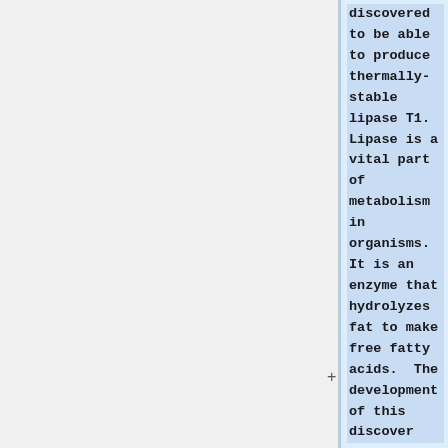discovered to be able to produce thermally-stable lipase T1. Lipase is a vital part of metabolism in organisms. It is an enzyme that hydrolyzes fat to make free fatty acids. The development of this discover